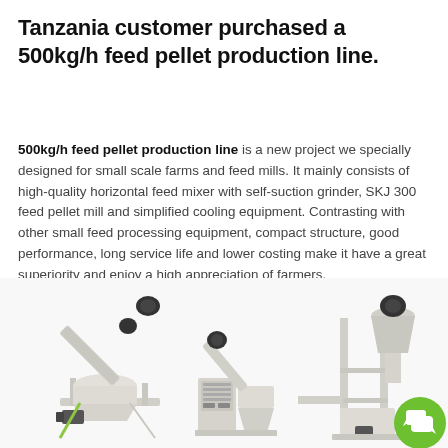Tanzania customer purchased a 500kg/h feed pellet production line.
500kg/h feed pellet production line is a new project we specially designed for small scale farms and feed mills. It mainly consists of high-quality horizontal feed mixer with self-suction grinder, SKJ 300 feed pellet mill and simplified cooling equipment. Contrasting with other small feed processing equipment, compact structure, good performance, long service life and lower costing make it have a great superiority and enjoy a high appreciation of farmers.
[Figure (photo): Three feed pellet production line machines: a horizontal feed mixer with self-suction grinder on the left, an SKJ 300 feed pellet mill in the center, and a cooling equipment unit on the right. A green chat/support icon is overlaid in the bottom-right corner.]